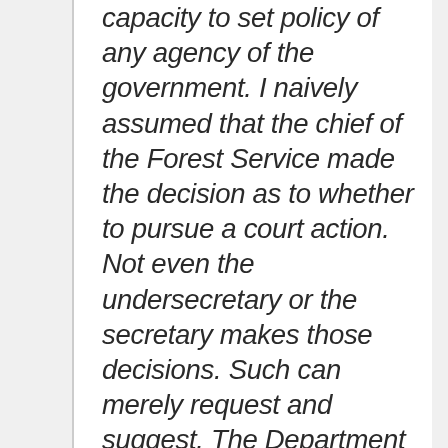capacity to set policy of any agency of the government. I naively assumed that the chief of the Forest Service made the decision as to whether to pursue a court action. Not even the undersecretary or the secretary makes those decisions. Such can merely request and suggest. The Department of Justice decides- the agency can proprose and the